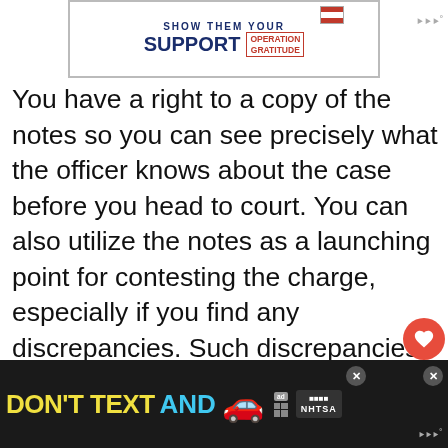[Figure (screenshot): Top advertisement banner: SHOW THEM YOUR SUPPORT - OPERATION GRATITUDE with American flag imagery]
You have a right to a copy of the notes so you can see precisely what the officer knows about the case before you head to court. You can also utilize the notes as a launching point for contesting the charge, especially if you find any discrepancies. Such discrepancies may include your car being listed with the wrong color, or the weather being noted as raining when it was sunny. With these discrepancies, you may find the court willing to drop the charges.
[Figure (screenshot): Bottom advertisement: DON'T TEXT AND [car emoji] - NHTSA ad with close buttons]